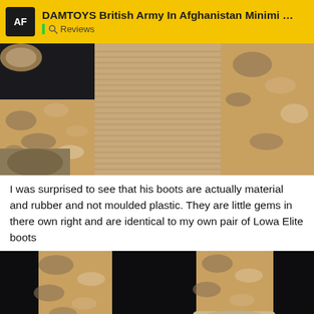DAMTOYS British Army In Afghanistan Minimi G... | Reviews
[Figure (photo): Close-up photo of a 1:6 scale military action figure showing the torso area. The figure wears desert DPM camouflage trousers and a tan/beige ribbed knit sweater, against a dark background.]
I was surprised to see that his boots are actually material and rubber and not moulded plastic. They are little gems in there own right and are identical to my own pair of Lowa Elite boots
[Figure (photo): Close-up photo of a 1:6 scale military action figure showing the legs and boots. The figure wears desert DPM camouflage trousers and detailed tan/beige lace-up boots. A rating badge showing 9/10 is overlaid in the bottom right corner.]